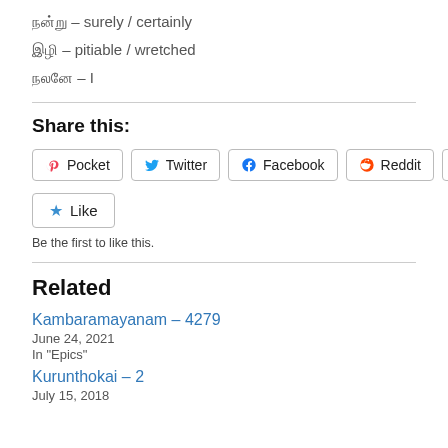நன்று – surely / certainly
இழி – pitiable / wretched
நலனே – I
Share this:
Pocket  Twitter  Facebook  Reddit  Tumblr
Like
Be the first to like this.
Related
Kambaramayanam – 4279
June 24, 2021
In "Epics"
Kurunthokai – 2
July 15, 2018